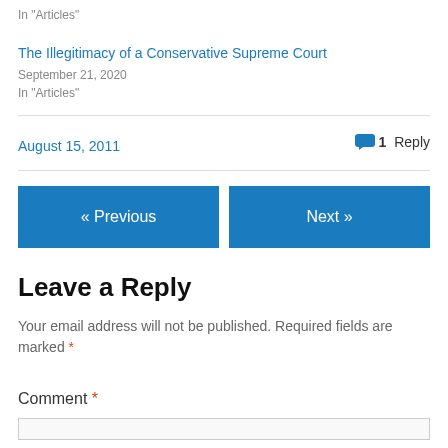In "Articles"
The Illegitimacy of a Conservative Supreme Court
September 21, 2020
In "Articles"
August 15, 2011
1 Reply
« Previous
Next »
Leave a Reply
Your email address will not be published. Required fields are marked *
Comment *